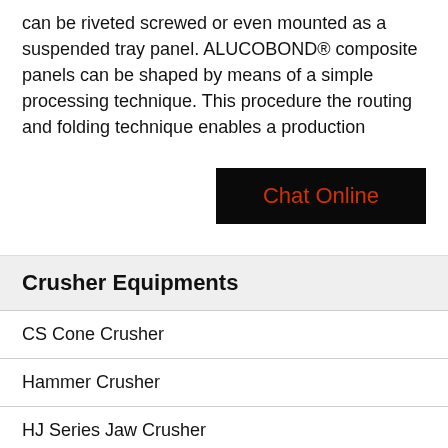can be riveted screwed or even mounted as a suspended tray panel. ALUCOBOND® composite panels can be shaped by means of a simple processing technique. This procedure the routing and folding technique enables a production
[Figure (other): Black button with orange text reading 'Chat Online']
Crusher Equipments
CS Cone Crusher
Hammer Crusher
HJ Series Jaw Crusher
HPT Cone Crusher
HST Cone Crusher